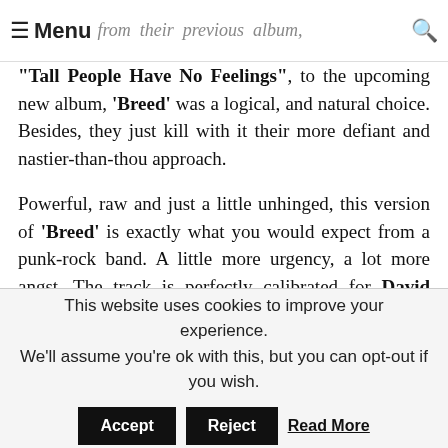Menu  from their previous album,
"Tall People Have No Feelings", to the upcoming new album, 'Breed' was a logical, and natural choice. Besides, they just kill with it their more defiant and nastier-than-thou approach.

Powerful, raw and just a little unhinged, this version of 'Breed' is exactly what you would expect from a punk-rock band. A little more urgency, a lot more angst. The track is perfectly calibrated for David McGhee's strengths as a vocalist; he sounds as confident as he's ever sounded on a The Vanilla Milkshakes record, and he drags the rest of the band along with him.
This website uses cookies to improve your experience. We'll assume you're ok with this, but you can opt-out if you wish. Accept Reject Read More